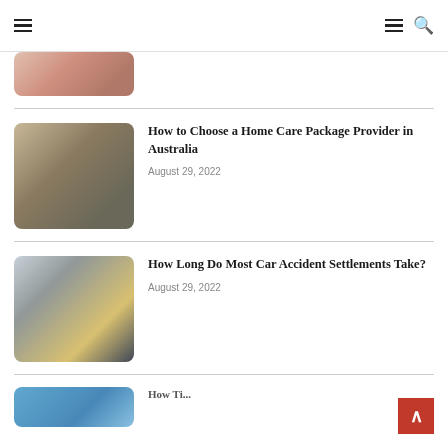Navigation bar with hamburger menu icons and search icon
[Figure (photo): Partial view of a person in a gray top holding something red, cropped at top of page]
How to Choose a Home Care Package Provider in Australia
August 29, 2022
[Figure (photo): Elderly man with glasses smiling, looking at a tablet device]
How Long Do Most Car Accident Settlements Take?
August 29, 2022
[Figure (photo): Two people standing near cars after an accident, a man in dark jacket and a woman in light clothing]
[Figure (photo): Partial thumbnail of a third article at bottom, appears to be blue toned image]